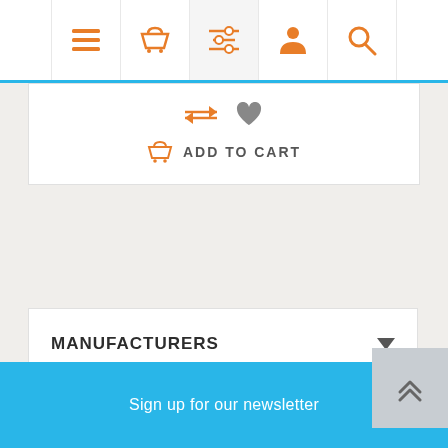[Figure (screenshot): E-commerce website navigation bar with orange icons: hamburger menu, shopping basket, filter/list, user profile, and search magnifier]
[Figure (screenshot): Product card section showing compare arrows icon and heart/wishlist icon, with an Add to Cart button featuring an orange basket icon]
MANUFACTURERS
Sign up for our newsletter